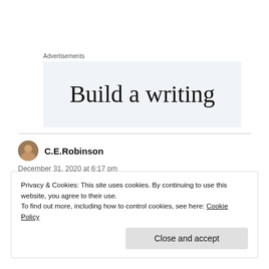Advertisements
[Figure (other): Advertisement banner showing partial text 'Build a writing' on a light blue-grey background]
C.E.Robinson
December 31, 2020 at 6:17 pm
Privacy & Cookies: This site uses cookies. By continuing to use this website, you agree to their use.
To find out more, including how to control cookies, see here: Cookie Policy
Close and accept